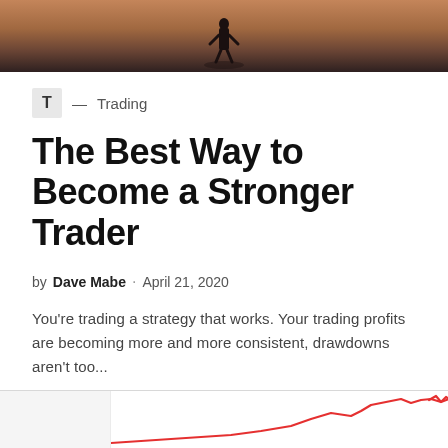[Figure (photo): Hero image showing silhouette of a person standing against a dramatic orange and dark sky background]
T — Trading
The Best Way to Become a Stronger Trader
by Dave Mabe · April 21, 2020
You're trading a strategy that works. Your trading profits are becoming more and more consistent, drawdowns aren't too...
[Figure (continuous-plot): Partial view of a second article card showing a red line chart trending upward at the bottom of the page]